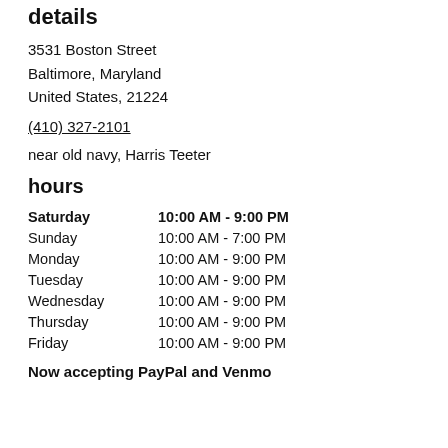details
3531 Boston Street
Baltimore, Maryland
United States, 21224
(410) 327-2101
near old navy, Harris Teeter
hours
| Day | Hours |
| --- | --- |
| Saturday | 10:00 AM - 9:00 PM |
| Sunday | 10:00 AM - 7:00 PM |
| Monday | 10:00 AM - 9:00 PM |
| Tuesday | 10:00 AM - 9:00 PM |
| Wednesday | 10:00 AM - 9:00 PM |
| Thursday | 10:00 AM - 9:00 PM |
| Friday | 10:00 AM - 9:00 PM |
Now accepting PayPal and Venmo